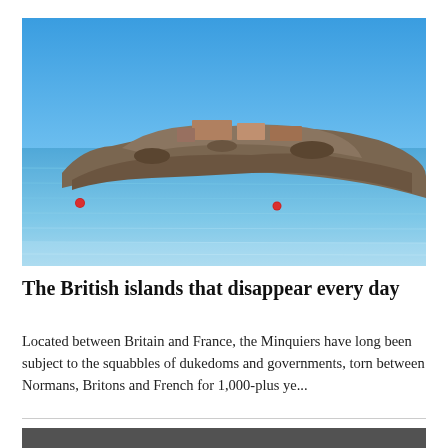[Figure (photo): A rocky island viewed from the sea, with a clear blue sky above. The island has stone structures and buildings on top of rocky outcrops. The sea is a vivid blue with gentle waves. Two small red buoys are visible in the water.]
The British islands that disappear every day
Located between Britain and France, the Minquiers have long been subject to the squabbles of dukedoms and governments, torn between Normans, Britons and French for 1,000-plus ye...
[Figure (photo): Partial view of a second photo at the bottom of the page, dark and mostly obscured.]